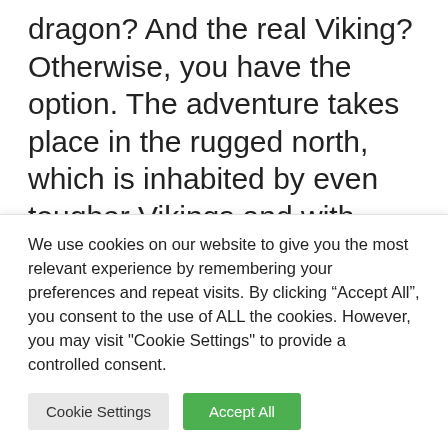dragon? And the real Viking? Otherwise, you have the option. The adventure takes place in the rugged north, which is inhabited by even tougher Vikings and with them dragons. The main character Škyťák somehow cannot fit in with the other inhabitants of his native island, because unlike them, he uses his head rather than his muscles (which he slowly has). This would
We use cookies on our website to give you the most relevant experience by remembering your preferences and repeat visits. By clicking “Accept All”, you consent to the use of ALL the cookies. However, you may visit "Cookie Settings" to provide a controlled consent.